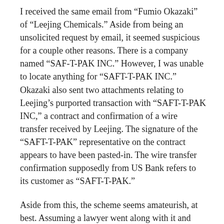I received the same email from “Fumio Okazaki” of “Leejing Chemicals.” Aside from being an unsolicited request by email, it seemed suspicious for a couple other reasons. There is a company named “SAF-T-PAK INC.” However, I was unable to locate anything for “SAFT-T-PAK INC.” Okazaki also sent two attachments relating to Leejing’s purported transaction with “SAFT-T-PAK INC,” a contract and confirmation of a wire transfer received by Leejing. The signature of the “SAFT-T-PAK” representative on the contract appears to have been pasted-in. The wire transfer confirmation supposedly from US Bank refers to its customer as “SAFT-T-PAK.”
Aside from this, the scheme seems amateurish, at best. Assuming a lawyer went along with it and actually received a settlement check from “SAFT-T-PAK,” wouldn’t he/she wait for the check to clear, before forwarding funds to Leejing? Wouldn’t the lawyer’s bank require that the funds be collected before authorizing a wire transfer drawn against them? Even assuming the